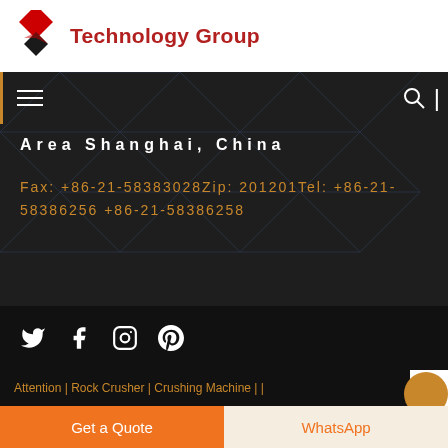[Figure (logo): Red diamond-shaped logo icon with overlapping diamond shapes]
Technology Group
[Figure (schematic): Navigation bar with hamburger menu icon on left and search icon with vertical divider on right, on dark background]
Area Shanghai, China
Fax: +86-21-58383028Zip: 201201Tel: +86-21-58386256 +86-21-58386258
[Figure (infographic): Social media icons: Twitter, Facebook, Instagram, Pinterest on dark background]
Attention | Rock Crusher | Crushing Machine |
Get a Quote
WhatsApp